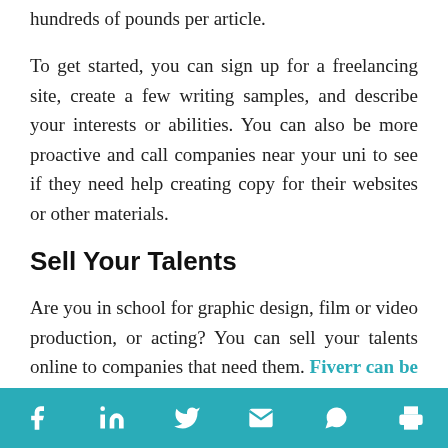hundreds of pounds per article.
To get started, you can sign up for a freelancing site, create a few writing samples, and describe your interests or abilities. You can also be more proactive and call companies near your uni to see if they need help creating copy for their websites or other materials.
Sell Your Talents
Are you in school for graphic design, film or video production, or acting? You can sell your talents online to companies that need them. Fiverr can be a great resource if you're looking for a way to
[social share icons: Facebook, LinkedIn, Twitter, Email, WhatsApp, Print]